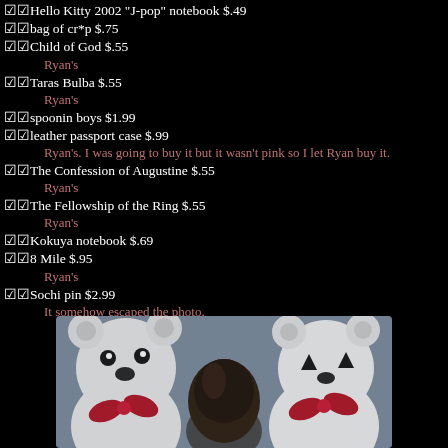☑☑Hello Kitty 2002 "J-pop" notebook $.49
☑☑bag of cr*p $.75
☑☑Child of God $.55
Ryan's
☑☑Taras Bulba $.55
Ryan's
☑☑spoonin boys $1.99
☑☑leather passport case $.99
Ryan's. I was going to buy it but it wasn't pink so I let Ryan buy it.
☑☑The Confession of Augustine $.55
Ryan's
☑☑The Fellowship of the Ring $.55
Ryan's
☑☑Kokuya notebook $.69
☑☑8 Mile $.95
Ryan's
☑☑Sochi pin $2.99
It somehow escaped the photo.
[Figure (photo): Photo of white teddy bears with red bow ties and a dark-haired doll in the center, viewed from behind]